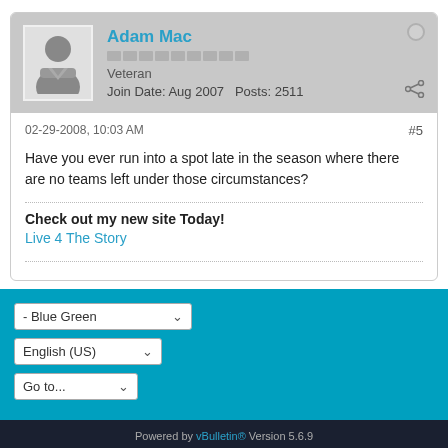[Figure (illustration): User avatar silhouette of a person in gray tones]
Adam Mac
Veteran
Join Date: Aug 2007   Posts: 2511
02-29-2008, 10:03 AM   #5
Have you ever run into a spot late in the season where there are no teams left under those circumstances?
Check out my new site Today!
Live 4 The Story
- Blue Green
English (US)
Go to...
Powered by vBulletin® Version 5.6.9
Copyright © 2022 vBulletin Solutions, Inc. All rights reserved.
All times are GMT-5. This page was generated at 01:35 AM.